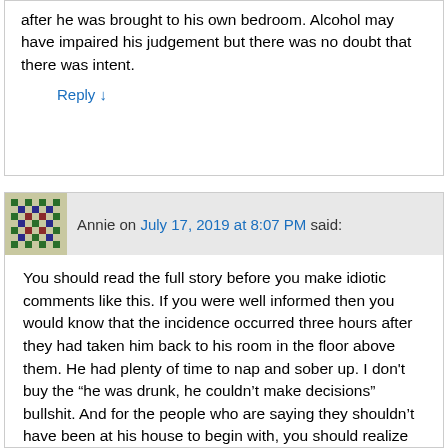after he was brought to his own bedroom. Alcohol may have impaired his judgement but there was no doubt that there was intent.
Reply ↓
Annie on July 17, 2019 at 8:07 PM said:
You should read the full story before you make idiotic comments like this. If you were well informed then you would know that the incidence occurred three hours after they had taken him back to his room in the floor above them. He had plenty of time to nap and sober up. I don't buy the "he was drunk, he couldn't make decisions" bullshit. And for the people who are saying they shouldn't have been at his house to begin with, you should realize that this was a work extended social event. The culture in Korea is such that you can't say no these social events especially when you're not in a position of power. They probably felt pressured into attending this work event that was seemingly harmless until it wasn't. Also, his house is in a remote location without cell phone signal. Supposedly